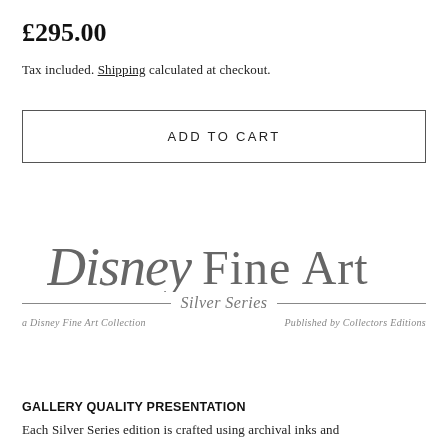£295.00
Tax included. Shipping calculated at checkout.
ADD TO CART
[Figure (logo): Disney Fine Art Silver Series logo — 'Disney' in stylized script followed by 'Fine Art' in serif, with 'Silver Series' in italic below flanked by horizontal rules, and sub-captions 'a Disney Fine Art Collection' and 'Published by Collectors Editions']
GALLERY QUALITY PRESENTATION
Each Silver Series edition is crafted using archival inks and